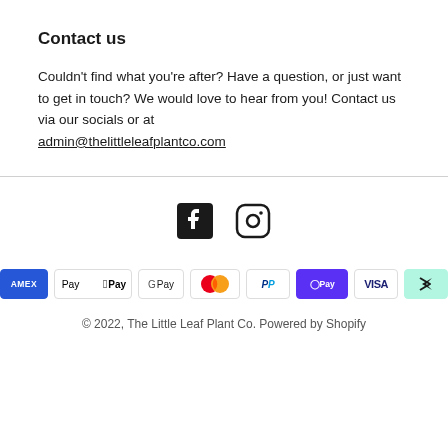Contact us
Couldn't find what you're after? Have a question, or just want to get in touch? We would love to hear from you! Contact us via our socials or at admin@thelittleleafplantco.com
[Figure (logo): Facebook and Instagram social media icons]
[Figure (infographic): Payment method icons: American Express, Apple Pay, Google Pay, Mastercard, PayPal, Shop Pay, Visa, AfterPay]
© 2022, The Little Leaf Plant Co. Powered by Shopify